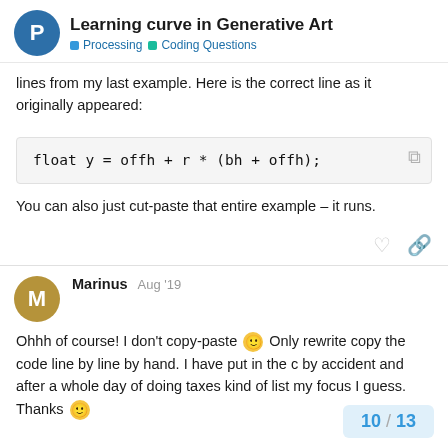Learning curve in Generative Art | Processing | Coding Questions
lines from my last example. Here is the correct line as it originally appeared:
You can also just cut-paste that entire example – it runs.
Marinus  Aug '19
Ohhh of course! I don't copy-paste 🙂 Only rewrite copy the code line by line by hand. I have put in the c by accident and after a whole day of doing taxes kind of list my focus I guess. Thanks 🙂
10 / 13